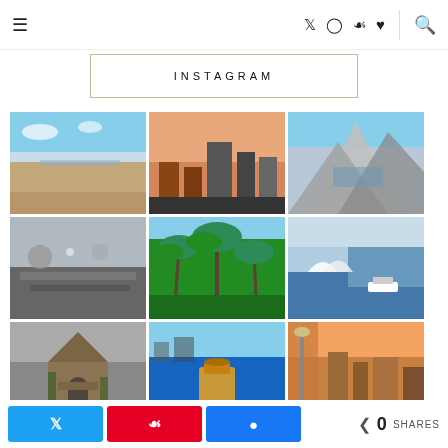≡  Twitter Instagram Pinterest ♥  🔍
INSTAGRAM
[Figure (photo): Beach coastal scene with turquoise water and sandy shore]
[Figure (photo): City skyline at sunset with rooftop foreground]
[Figure (photo): Modern angular glass building architecture]
[Figure (photo): Rocky coastal landscape with seabirds]
[Figure (photo): Tropical palm trees viewed from below]
[Figure (photo): Sydney Harbour with Opera House and ferry]
[Figure (photo): Historic stone church with ivy and Christmas tree]
[Figure (photo): Person holding drink with harbour view]
[Figure (photo): City rooftop view at golden hour]
0 SHARES